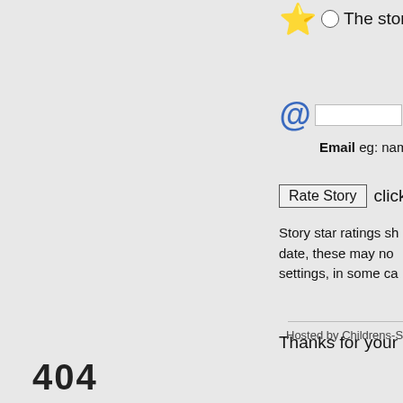[Figure (other): Star rating icon (yellow star) and radio button circle with partial text 'The story i']
[Figure (other): Blue @ email icon with an empty text input box]
Email eg: nam
Rate Story   click
Story star ratings sh date, these may no settings, in some ca
Thanks for your inte
Hosted by Childrens-Stories.net
404